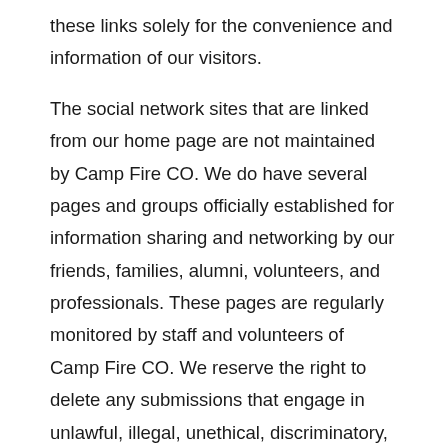these links solely for the convenience and information of our visitors.
The social network sites that are linked from our home page are not maintained by Camp Fire CO. We do have several pages and groups officially established for information sharing and networking by our friends, families, alumni, volunteers, and professionals. These pages are regularly monitored by staff and volunteers of Camp Fire CO. We reserve the right to delete any submissions that engage in unlawful, illegal, unethical, discriminatory, disruptive, threatening, or offensive activity or practice. If any user is found violating local or national Internet policies, the offending user will be removed or blocked from access to the site or sites. Additionally, we may report unlawful, illegal, or threatening activity or practice to law